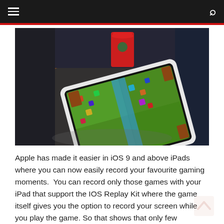[Figure (photo): An iPad lying on a round dark wooden table at a Starbucks, displaying a mobile game (Clash Royale) with a red Starbucks cup visible in the background]
Apple has made it easier in iOS 9 and above iPads where you can now easily record your favourite gaming moments.  You can record only those games with your iPad that support the IOS Replay Kit where the game itself gives you the option to record your screen while you play the game. So that shows that only few supported games can only